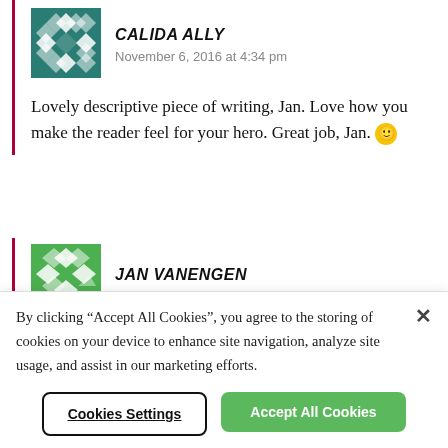[Figure (illustration): Avatar image for Calida Ally — teal geometric pattern with diamond/star shapes]
CALIDA ALLY
November 6, 2016 at 4:34 pm
Lovely descriptive piece of writing, Jan. Love how you make the reader feel for your hero. Great job, Jan. 🙂
[Figure (illustration): Avatar image for Jan Vanengen — green geometric pattern with diamond/arrow shapes]
JAN VANENGEN
By clicking “Accept All Cookies”, you agree to the storing of cookies on your device to enhance site navigation, analyze site usage, and assist in our marketing efforts.
Cookies Settings
Accept All Cookies